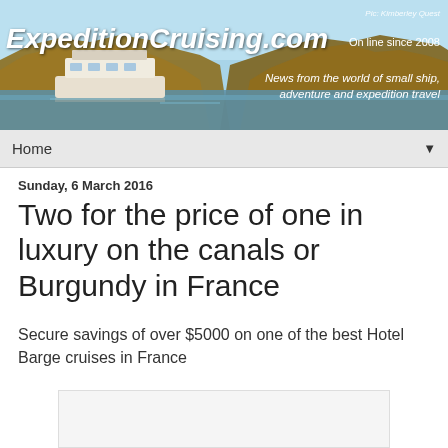[Figure (illustration): ExpeditionCruising.com website banner showing a boat on a river with canyon cliffs, with text 'ExpeditionCruising.com', 'On line since 2008', 'News from the world of small ship, adventure and expedition travel', and photo credit 'Pic: Kimberley Quest']
Home ▼
Sunday, 6 March 2016
Two for the price of one in luxury on the canals or Burgundy in France
Secure savings of over $5000 on one of the best Hotel Barge cruises in France
[Figure (photo): Image placeholder box (partially visible at bottom of page)]